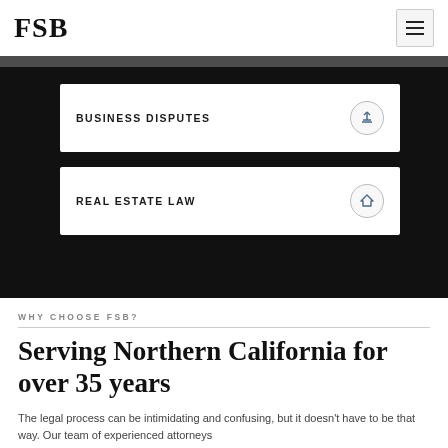FSB
BUSINESS DISPUTES
REAL ESTATE LAW
WHY CHOOSE FSB?
Serving Northern California for over 35 years
The legal process can be intimidating and confusing, but it doesn't have to be that way. Our team of experienced attorneys